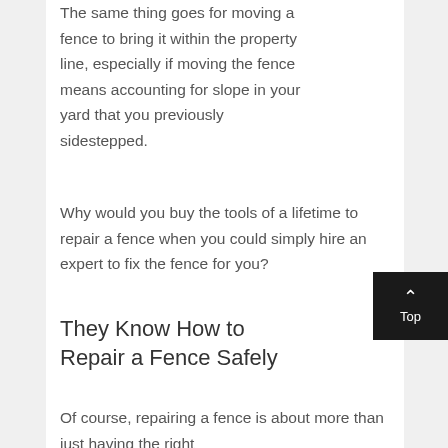The same thing goes for moving a fence to bring it within the property line, especially if moving the fence means accounting for slope in your yard that you previously sidestepped.
Why would you buy the tools of a lifetime to repair a fence when you could simply hire an expert to fix the fence for you?
They Know How to Repair a Fence Safely
Of course, repairing a fence is about more than just having the right